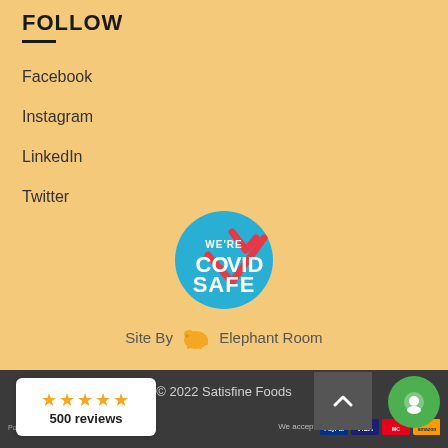FOLLOW
Facebook
Instagram
LinkedIn
Twitter
[Figure (logo): We're COVID Safe circular badge in blue with a red checkmark]
Site By 🐘 Elephant Room
[Figure (infographic): Google reviews card showing 4 orange stars and 500 reviews]
© 2022 Satisfine Foods
Powered by ORENDO
We accept PayPal, Visa, Mastercard, Amazon